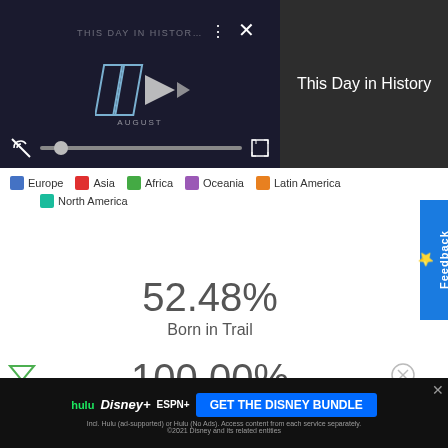[Figure (screenshot): Video player showing 'This Day in History' with play controls, mute icon, progress bar, and playhead. Shows 'AUGUST' text and logo animation.]
This Day in History
[Figure (infographic): Legend showing colored swatches for Europe (blue), Asia (red), Africa (green), Oceania (purple), Latin America (orange), North America (teal)]
52.48%
Born in Trail
100.00%
[Figure (screenshot): Advertisement banner for Disney Bundle featuring Hulu, Disney+, ESPN+ logos with 'GET THE DISNEY BUNDLE' call to action button]